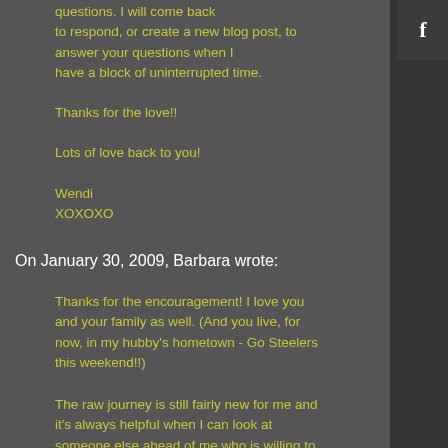questions. I will come back to respond, or create a new blog post, to answer your questions when I have a block of uninterrupted time.
Thanks for the love!!
Lots of love back to you!
Wendi
XOXOXO
On January 30, 2009, Barbara wrote:
Thanks for the encouragement! I love you and your family as well. (And you live, for now, in my hubby's hometown - Go Steelers this weekend!!)
The raw journey is still fairly new for me and it's always helpful when I can look at someone else ahead of me who is willing to share lessons learned and victories. It gives